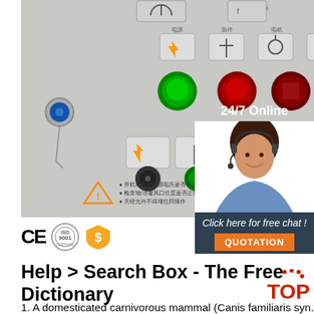[Figure (photo): Industrial electrical control panel with buttons, knobs, switches and Chinese text labels]
[Figure (infographic): 24/7 Online chat widget with customer service agent photo, 'Click here for free chat!' text and QUOTATION button]
[Figure (logo): CE certification mark, ISO 9001 circular seal, and orange shield/dollar badge]
Help > Search Box - The Free Dictionary
1. A domesticated carnivorous mammal (Canis familiaris syn. Canis lupus subsp. familiaris) occurring as a wide variety of breeds, many of which are traditionally used for hunting, herding, drawing sleds, and other tasks, and are